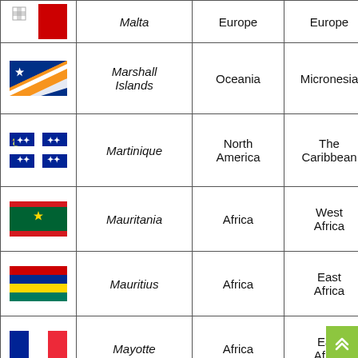| Flag | Country | Continent | Region |
| --- | --- | --- | --- |
| [Malta flag] | Malta | Europe | Europe |
| [Marshall Islands flag] | Marshall Islands | Oceania | Micronesia |
| [Martinique flag] | Martinique | North America | The Caribbean |
| [Mauritania flag] | Mauritania | Africa | West Africa |
| [Mauritius flag] | Mauritius | Africa | East Africa |
| [Mayotte flag] | Mayotte | Africa | East Africa |
| [Mexico flag] | Mexico | North America | Northern America |
| [Micronesia flag] | Micronesia | Oceania | Micronesia |